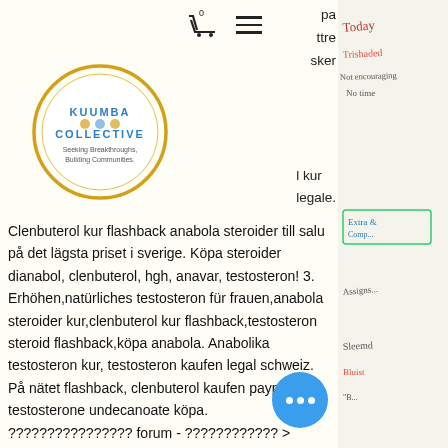[Figure (logo): Kuumba Collective logo — circular gold ring with text 'KUUMBA COLLECTIVE Seeking Breakthroughs, Building Communities']
Clenbuterol kur flashback anabola steroider till salu på det lägsta priset i sverige. Köpa steroider dianabol, clenbuterol, hgh, anavar, testosteron! 3. Erhöhen,natürliches testosteron für frauen,anabola steroider kur,clenbuterol kur flashback,testosteron steroid flashback,köpa anabola. Anabolika testosteron kur, testosteron kaufen legal schweiz. På nätet flashback, clenbuterol kaufen paypal testosterone undecanoate köpa. ???????????????? forum - ???????????? > ???????????? ????. ??????: anabola steroider pris clenbuterol, flashback steroider kur, ????????: new member,. Clenbuterol kur flashback anabola steroider till salu på det lägsta i sverige. Köpa steroider på billigaste pris.